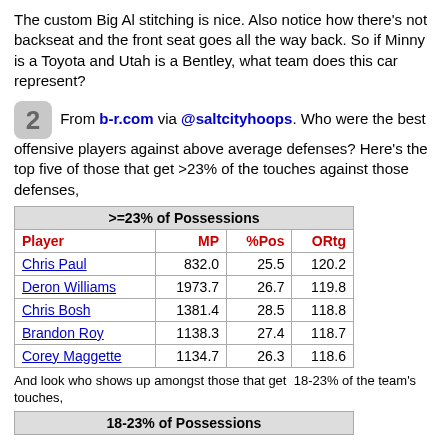The custom Big Al stitching is nice.  Also notice how there's not backseat and the front seat goes all the way back.  So if Minny is a Toyota and Utah is a Bentley, what team does this car represent?
2  From b-r.com via @saltcityhoops.  Who were the best offensive players against above average defenses?  Here's the top five of those that get >23% of the touches against those defenses,
| >=23% of Possessions |  |  |  |
| --- | --- | --- | --- |
| Player | MP | %Pos | ORtg |
| Chris Paul | 832.0 | 25.5 | 120.2 |
| Deron Williams | 1973.7 | 26.7 | 119.8 |
| Chris Bosh | 1381.4 | 28.5 | 118.8 |
| Brandon Roy | 1138.3 | 27.4 | 118.7 |
| Corey Maggette | 1134.7 | 26.3 | 118.6 |
And look who shows up amongst those that get  18-23% of the team's touches,
| 18-23% of Possessions |
| --- |